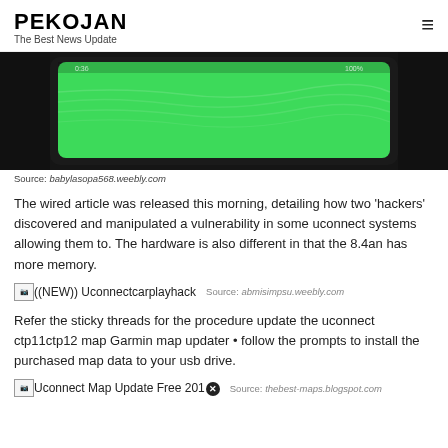PEKOJAN — The Best News Update
[Figure (photo): Green glowing screen on a dark device, likely a car infotainment or tablet screen, photographed in dark environment.]
Source: babylasopa568.weebly.com
The wired article was released this morning, detailing how two 'hackers' discovered and manipulated a vulnerability in some uconnect systems allowing them to. The hardware is also different in that the 8.4an has more memory.
[Figure (photo): Broken image placeholder labeled ((NEW)) Uconnectcarplayhack]
Source: abmisimpsu.weebly.com
Refer the sticky threads for the procedure update the uconnect ctp11ctp12 map Garmin map updater • follow the prompts to install the purchased map data to your usb drive.
[Figure (photo): Broken image placeholder labeled Uconnect Map Update Free 201 (with close icon)]
Source: thebest-maps.blogspot.com